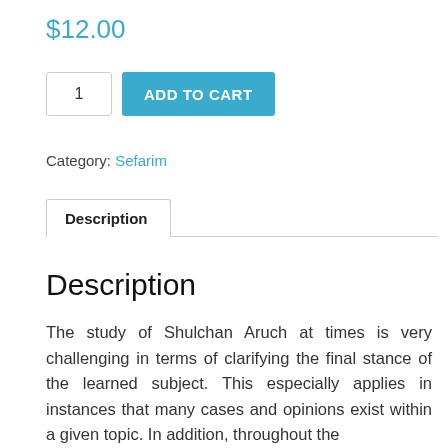$12.00
1  ADD TO CART
Category: Sefarim
Description
Description
The study of Shulchan Aruch at times is very challenging in terms of clarifying the final stance of the learned subject. This especially applies in instances that many cases and opinions exist within a given topic. In addition, throughout the